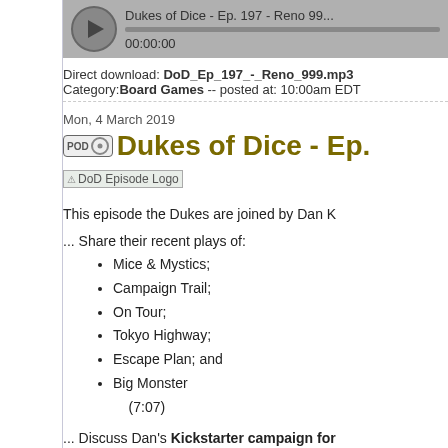[Figure (other): Audio player with play button, progress bar, episode title 'Dukes of Dice - Ep. 197 - Reno 99...' and timestamp 00:00:00]
Direct download: DoD_Ep_197_-_Reno_999.mp3
Category: Board Games -- posted at: 10:00am EDT
Mon, 4 March 2019
Dukes of Dice - Ep.
[Figure (photo): DoD Episode Logo image (broken image placeholder)]
This episode the Dukes are joined by Dan K
... Share their recent plays of:
Mice & Mystics;
Campaign Trail;
On Tour;
Tokyo Highway;
Escape Plan; and
Big Monster (7:07)
... Discuss Dan's Kickstarter campaign for
... Review Renegade Game Studio's Archite
... Look back at their review of Fog of Love i
Click here to
[Figure (other): Become a Patron image (broken image placeholder)]